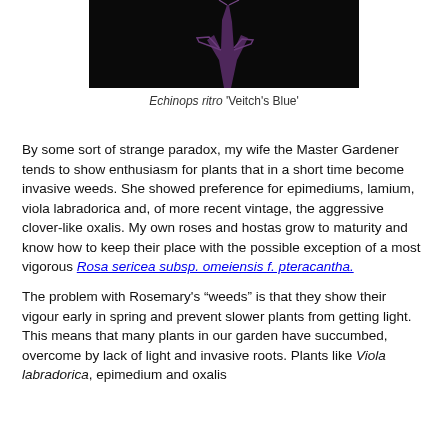[Figure (photo): A plant stem with branches against a dark/black background, appearing to be a macro or studio photograph of a plant specimen.]
Echinops ritro 'Veitch's Blue'
By some sort of strange paradox, my wife the Master Gardener tends to show enthusiasm for plants that in a short time become invasive weeds. She showed preference for epimediums, lamium, viola labradorica and, of more recent vintage, the aggressive clover-like oxalis. My own roses and hostas grow to maturity and know how to keep their place with the possible exception of a most vigorous Rosa sericea subsp. omeiensis f. pteracantha.
The problem with Rosemary's “weeds” is that they show their vigour early in spring and prevent slower plants from getting light. This means that many plants in our garden have succumbed, overcome by lack of light and invasive roots. Plants like Viola labradorica, epimedium and oxalis